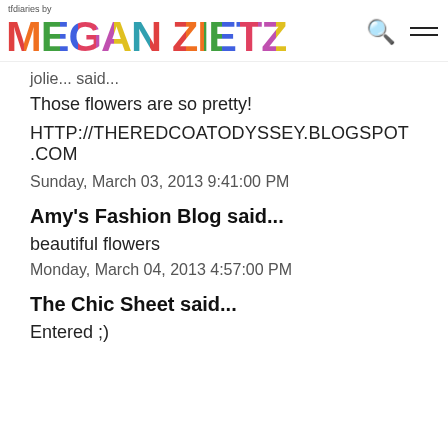tfdiaries by MEGAN ZIETZ
jolie... said...
Those flowers are so pretty!
HTTP://THEREDCOATODYSSEY.BLOGSPOT.COM
Sunday, March 03, 2013 9:41:00 PM
Amy's Fashion Blog said...
beautiful flowers
Monday, March 04, 2013 4:57:00 PM
The Chic Sheet said...
Entered ;)